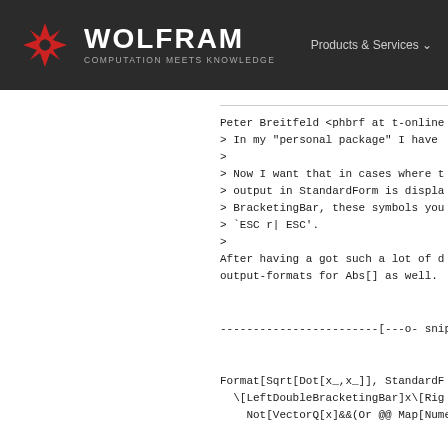WOLFRAM COMPUTATION MEETS KNOWLEDGE | Products & Services
Peter Breitfeld <phbrf at t-online
> In my "personal package" I have
>
> Now I want that in cases where t
> output in StandardForm is displa
> BracketingBar, these symbols you
> `ESC r| ESC'.
>
After having a got such a lot of d
output-formats for Abs[] as well.
------------------------[---o- snip -
Format[Sqrt[Dot[x_,x_]], StandardF
  \[LeftDoubleBracketingBar]x\[Rig
    Not[VectorQ[x]&&(Or @@ Map[Nume
Scan[Protect,{Power,Dot}]
Betrag[x_]:=Sqrt[x.x]